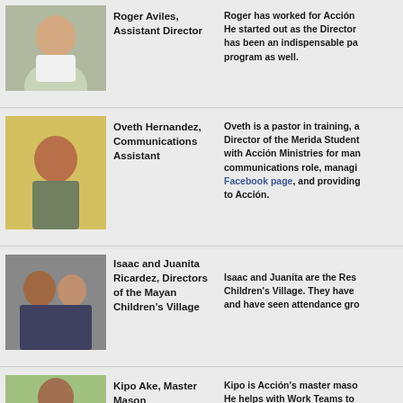[Figure (photo): Photo of Roger Aviles, a man in a white shirt outdoors]
Roger Aviles, Assistant Director
Roger has worked for Acción He started out as the Director has been an indispensable pa program as well.
[Figure (photo): Photo of Oveth Hernandez, a man in a gray shirt against yellow background]
Oveth Hernandez, Communications Assistant
Oveth is a pastor in training, a Director of the Merida Student with Acción Ministries for man communications role, managi Facebook page, and providing to Acción.
[Figure (photo): Photo of Isaac and Juanita Ricardez, a man and woman]
Isaac and Juanita Ricardez, Directors of the Mayan Children's Village
Isaac and Juanita are the Res Children's Village. They have and have seen attendance gro
[Figure (photo): Photo of Kipo Ake, a man outdoors]
Kipo Ake, Master Mason
Kipo is Acción's master maso He helps with Work Teams to